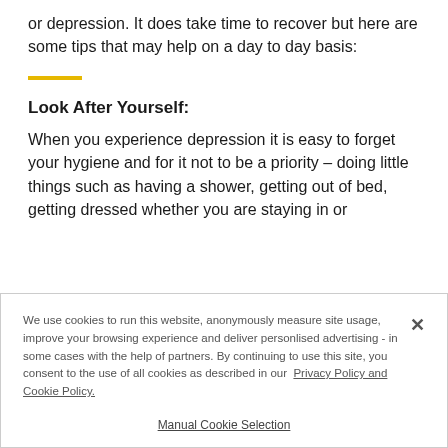or depression. It does take time to recover but here are some tips that may help on a day to day basis:
Look After Yourself:
When you experience depression it is easy to forget your hygiene and for it not to be a priority – doing little things such as having a shower, getting out of bed, getting dressed whether you are staying in or
We use cookies to run this website, anonymously measure site usage, improve your browsing experience and deliver personlised advertising - in some cases with the help of partners. By continuing to use this site, you consent to the use of all cookies as described in our Privacy Policy and Cookie Policy.

Manual Cookie Selection